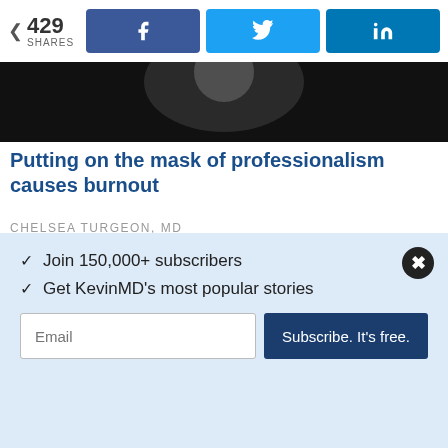429 SHARES
[Figure (screenshot): Share buttons: Facebook (f), Twitter (bird icon), LinkedIn (in) — all blue]
[Figure (photo): Partial dark image at top, appears to be cropped article hero image]
Putting on the mask of professionalism causes burnout
CHELSEA TURGEON, MD
[Figure (photo): Close-up photo of a stethoscope on a dark surface]
✓  Join 150,000+ subscribers
✓  Get KevinMD's most popular stories
Email
Subscribe. It's free.